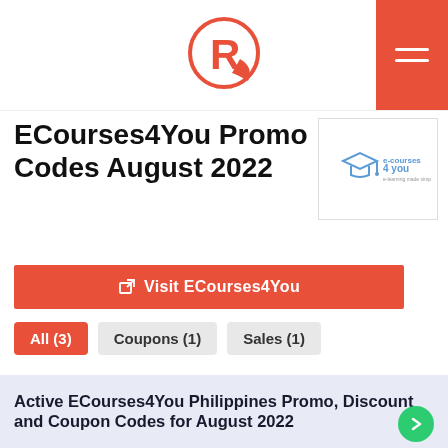Rappler logo header with menu button
ECourses4You Promo Codes August 2022
[Figure (logo): e-courses 4 you logo — graduation cap icon with tagline 'e-learning made simple']
Visit ECourses4You
All (3)  Coupons (1)  Sales (1)
Active ECourses4You Philippines Promo, Discount and Coupon Codes for August 2022
[Figure (logo): e-courses 4 you logo small]
Verified 75% Off All Courses at ECourses4You
Use the code and get 75% off on all